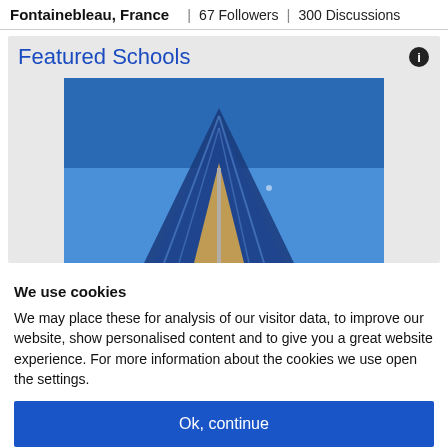Fontainebleau, France | 67 Followers | 300 Discussions
Featured Schools
[Figure (photo): Photo of a modern building exterior with glass facade and blue sky]
We use cookies
We may place these for analysis of our visitor data, to improve our website, show personalised content and to give you a great website experience. For more information about the cookies we use open the settings.
Ok, continue
Deny
No, adjust